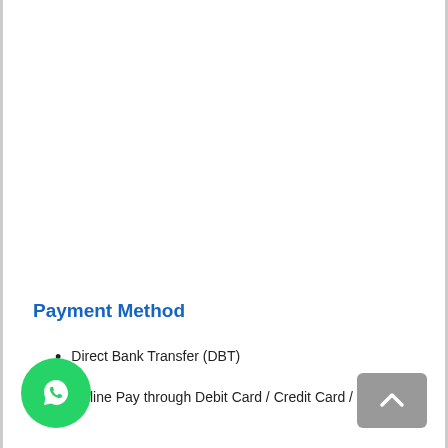Payment Method
Direct Bank Transfer (DBT)
Online Pay through Debit Card / Credit Card / Wallet